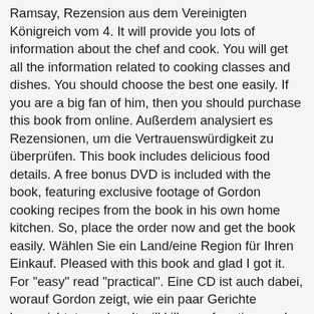Ramsay, Rezension aus dem Vereinigten Königreich vom 4. It will provide you lots of information about the chef and cook. You will get all the information related to cooking classes and dishes. You should choose the best one easily. If you are a big fan of him, then you should purchase this book from online. Außerdem analysiert es Rezensionen, um die Vertrauenswürdigkeit zu überprüfen. This book includes delicious food details. A free bonus DVD is included with the book, featuring exclusive footage of Gordon cooking recipes from the book in his own home kitchen. So, place the order now and get the book easily. Wählen Sie ein Land/eine Region für Ihren Einkauf. Pleased with this book and glad I got it. For "easy" read "practical". Eine CD ist auch dabei, worauf Gordon zeigt, wie ein paar Gerichte hergerichtet werden. It will kill your free time and make you happy. Wir verwenden Cookies und ähnliche Tools, um Ihr Einkaufserlebnis zu verbessern, um unsere Dienste anzubieten, um zu verstehen, wie die Kunden unsere Dienste nutzen, damit wir Verbesserungen vornehmen können, und um Werbung anzuzeigen. September 2017. CDN$33.49. Geben Sie es weiter, tauschen Sie es ein, © 1998-2020, Amazon.com, Inc. oder Tochtergesellschaften. Now this three-star Michelin chef is showing a different side in Gordon Ramsay Makes It Easy, his first cookbook geared specifically to the needs of the home cook, with simple, accessible recipes that take very little time to make. Do you accept